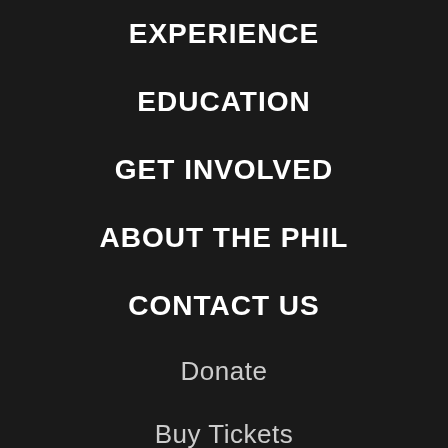EXPERIENCE
EDUCATION
GET INVOLVED
ABOUT THE PHIL
CONTACT US
Donate
Buy Tickets